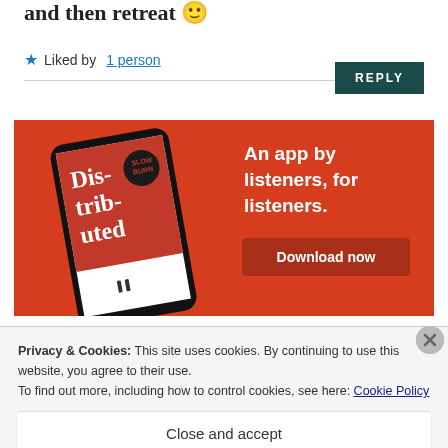and then retreat 🙂
★ Liked by 1 person
REPLY
[Figure (screenshot): Advertisement banner with red background showing a smartphone app called 'Distributed', with text 'An app by listeners, for listeners.' and a 'Download now' button]
Privacy & Cookies: This site uses cookies. By continuing to use this website, you agree to their use.
To find out more, including how to control cookies, see here: Cookie Policy
Close and accept